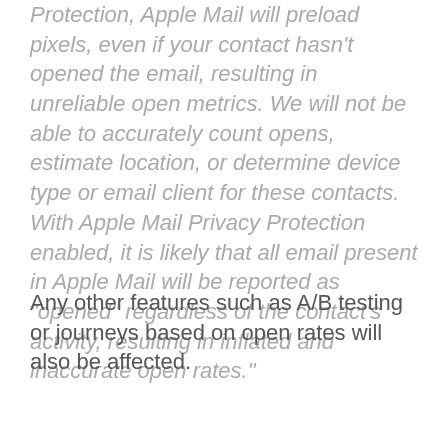Protection, Apple Mail will preload pixels, even if your contact hasn't opened the email, resulting in unreliable open metrics. We will not be able to accurately count opens, estimate location, or determine device type or email client for these contacts. With Apple Mail Privacy Protection enabled, it is likely that all email present in Apple Mail will be reported as "opened" regardless of the contact's activity, resulting in inflated and inaccurate open rates."
Any other features such as A/B testing or journeys based on open rates will also be affected.